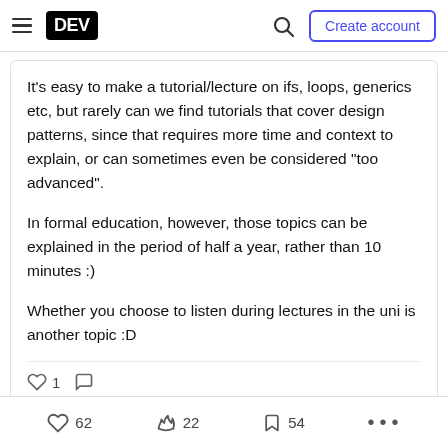DEV — Create account
It's easy to make a tutorial/lecture on ifs, loops, generics etc, but rarely can we find tutorials that cover design patterns, since that requires more time and context to explain, or can sometimes even be considered "too advanced".
In formal education, however, those topics can be explained in the period of half a year, rather than 10 minutes :)
Whether you choose to listen during lectures in the uni is another topic :D
62 likes  22 reactions  54 saves